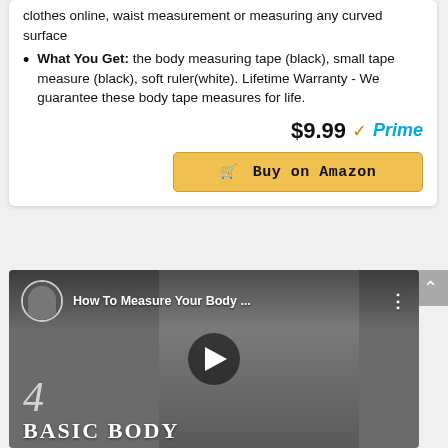clothes online, waist measurement or measuring any curved surface
What You Get: the body measuring tape (black), small tape measure (black), soft ruler(white). Lifetime Warranty - We guarantee these body tape measures for life.
$9.99 ✓Prime
Buy on Amazon
[Figure (screenshot): YouTube video thumbnail showing a person wearing athletic wear with text 'How To Measure Your Body ...' and overlay text '4 BASIC BODY']